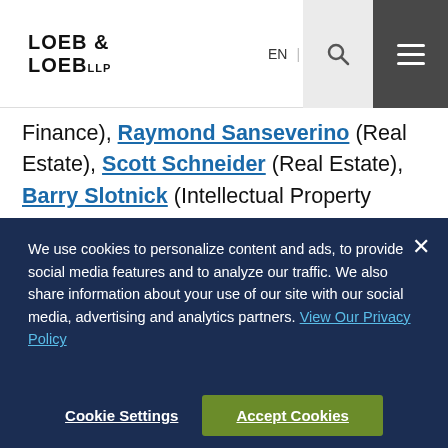LOEB & LOEB LLP | EN
Finance), Raymond Sanseverino (Real Estate), Scott Schneider (Real Estate), Barry Slotnick (Intellectual Property Litigation, Entertainment & Sports), Brian Socolow (Entertainment & Sports, Business Litigation), Kenneth Sold (Real Estate), Akiba Stern (Information Technology/Outsourcing, Business/Corporate, Intellectual Property), Alan Tarr (Tax), James Taylor (First Amendment/ Media/ Advertising, Intellectual Property, Entertainment &
We use cookies to personalize content and ads, to provide social media features and to analyze our traffic. We also share information about your use of our site with our social media, advertising and analytics partners. View Our Privacy Policy
Cookie Settings   Accept Cookies